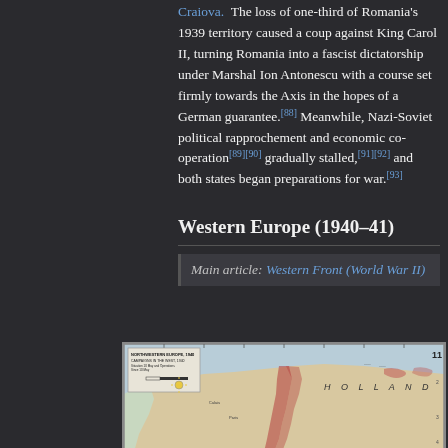Craiova. The loss of one-third of Romania's 1939 territory caused a coup against King Carol II, turning Romania into a fascist dictatorship under Marshal Ion Antonescu with a course set firmly towards the Axis in the hopes of a German guarantee.[88] Meanwhile, Nazi-Soviet political rapprochement and economic co-operation[89][90] gradually stalled,[91][92] and both states began preparations for war.[93]
Western Europe (1940–41)
Main article: Western Front (World War II)
[Figure (map): Historical military map of Northwestern Europe, 1940, showing campaigns in the West. The map shows Holland and surrounding regions with military movements indicated by red shaded areas along a north-south line.]